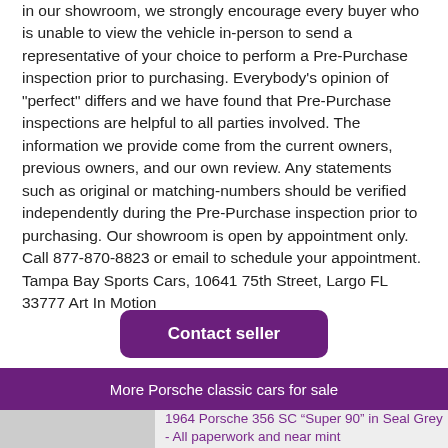in our showroom, we strongly encourage every buyer who is unable to view the vehicle in-person to send a representative of your choice to perform a Pre-Purchase inspection prior to purchasing. Everybody's opinion of "perfect" differs and we have found that Pre-Purchase inspections are helpful to all parties involved. The information we provide come from the current owners, previous owners, and our own review. Any statements such as original or matching-numbers should be verified independently during the Pre-Purchase inspection prior to purchasing. Our showroom is open by appointment only. Call 877-870-8823 or email to schedule your appointment. Tampa Bay Sports Cars, 10641 75th Street, Largo FL 33777 Art In Motion
Contact seller
More Porsche classic cars for sale
1964 Porsche 356 SC “Super 90” in Seal Grey - All paperwork and near mint 127,900 Portland, Oregon, United States